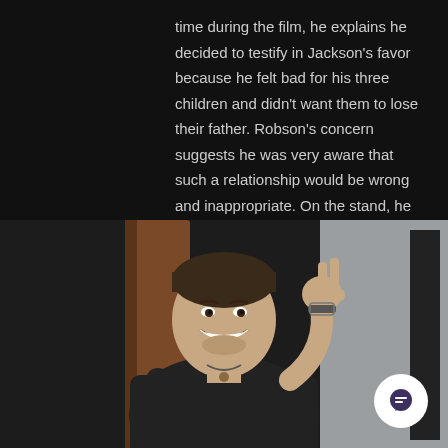time during the film, he explains he decided to testify in Jackson's favor because he felt bad for his three children and didn't want them to lose their father. Robson's concern suggests he was very aware that such a relationship would be wrong and inappropriate. On the stand, he answered specific and explicit questions under oath and stated he was aware that Jackson could end up in prison if convicted.
[Figure (photo): A smiling young man with short hair making a peace sign with his right hand, wearing a black shirt, photographed at what appears to be an event. A white circular chat/comment icon is overlaid in the bottom right corner.]